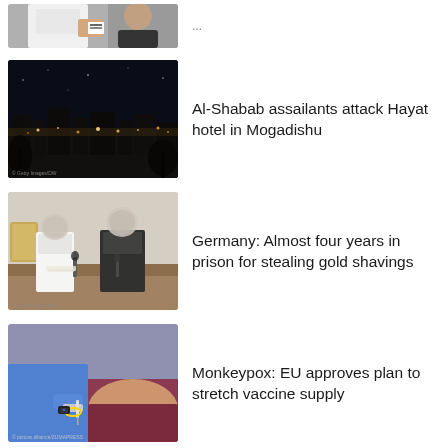[Figure (photo): Partial view of person holding a small card/book, top of page (cropped)]
[Figure (photo): Night cityscape of Mogadishu]
Al-Shabab assailants attack Hayat hotel in Mogadishu
[Figure (photo): Two blurred-face people seated at a courtroom table]
Germany: Almost four years in prison for stealing gold shavings
[Figure (photo): Medical professional administering a vaccine injection]
Monkeypox: EU approves plan to stretch vaccine supply